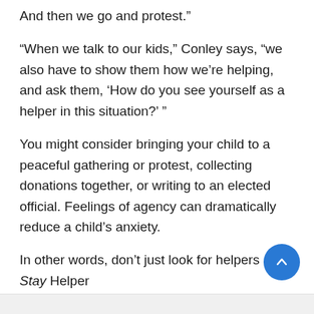And then we go and protest.”
“When we talk to our kids,” Conley says, “we also have to show them how we’re helping, and ask them, ‘How do you see yourself as a helper in this situation?’ ”
You might consider bringing your child to a peaceful gathering or protest, collecting donations together, or writing to an elected official. Feelings of agency can dramatically reduce a child’s anxiety.
In other words, don’t just look for helpers … Stay Helper